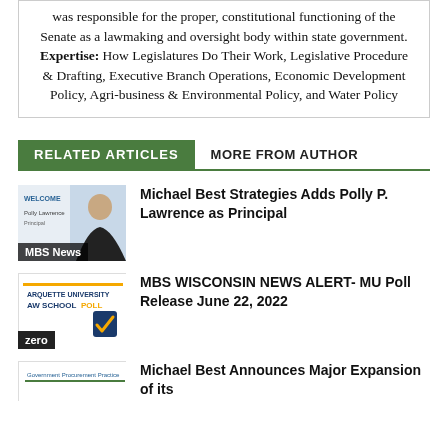was responsible for the proper, constitutional functioning of the Senate as a lawmaking and oversight body within state government. Expertise: How Legislatures Do Their Work, Legislative Procedure & Drafting, Executive Branch Operations, Economic Development Policy, Agri-business & Environmental Policy, and Water Policy
RELATED ARTICLES | MORE FROM AUTHOR
[Figure (photo): Welcome photo of Polly Lawrence, Principal, with MBS News label]
Michael Best Strategies Adds Polly P. Lawrence as Principal
[Figure (logo): Marquette University Law School Poll logo with zero label]
MBS WISCONSIN NEWS ALERT- MU Poll Release June 22, 2022
[Figure (logo): Government Procurement Practice logo thumbnail]
Michael Best Announces Major Expansion of its